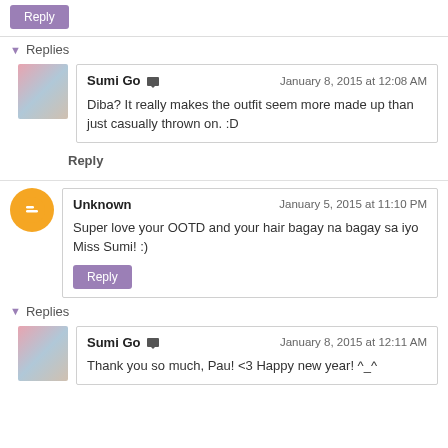Reply (button)
Replies
Sumi Go — January 8, 2015 at 12:08 AM
Diba? It really makes the outfit seem more made up than just casually thrown on. :D
Reply
Unknown — January 5, 2015 at 11:10 PM
Super love your OOTD and your hair bagay na bagay sa iyo Miss Sumi! :)
Reply (button)
Replies
Sumi Go — January 8, 2015 at 12:11 AM
Thank you so much, Pau! <3 Happy new year! ^_^